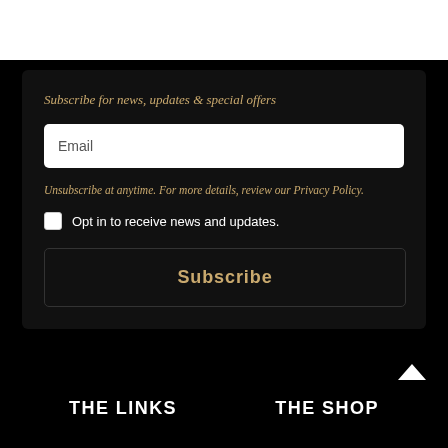Subscribe for news, updates & special offers
Email
Unsubscribe at anytime. For more details, review our Privacy Policy.
Opt in to receive news and updates.
Subscribe
THE LINKS   THE SHOP